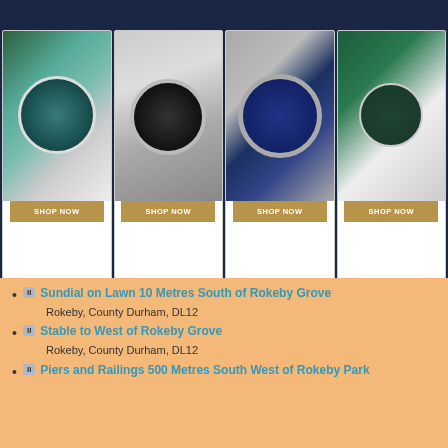[Figure (photo): Four luxury watches displayed in product cards with shop now buttons. First: Rolex in green box, Second: Rolex Yacht-Master with black dial, Third: Breitling with blue dial, Fourth: Rolex in green presentation box.]
II Sundial on Lawn 10 Metres South of Rokeby Grove
Rokeby, County Durham, DL12
II Stable to West of Rokeby Grove
Rokeby, County Durham, DL12
II Piers and Railings 500 Metres South West of Rokeby Park